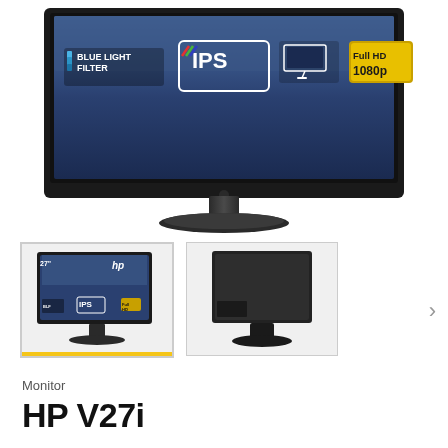[Figure (photo): HP V27i monitor front view with Blue Light Filter, IPS, and Full HD 1080p badges on screen, shown on white background]
[Figure (photo): Thumbnail 1: HP V27i monitor front view with city skyline on screen]
[Figure (photo): Thumbnail 2: HP V27i monitor rear view showing back panel and stand]
Monitor
HP V27i